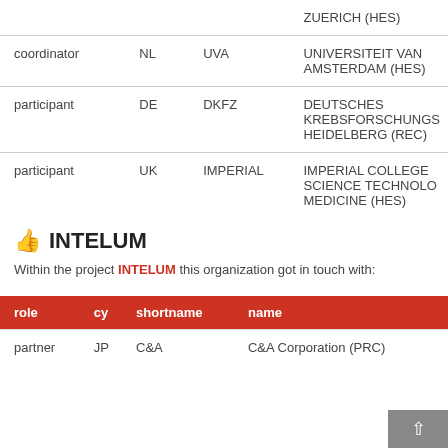| role | cy | shortname | name |
| --- | --- | --- | --- |
|  |  |  | ZUERICH (HES) |
| coordinator | NL | UVA | UNIVERSITEIT VAN AMSTERDAM (HES) |
| participant | DE | DKFZ | DEUTSCHES KREBSFORSCHUNGS HEIDELBERG (REC) |
| participant | UK | IMPERIAL | IMPERIAL COLLEGE SCIENCE TECHNOLO MEDICINE (HES) |
INTELUM
Within the project INTELUM this organization got in touch with:
| role | cy | shortname | name |
| --- | --- | --- | --- |
| partner | JP | C&A | C&A Corporation (PRC) |